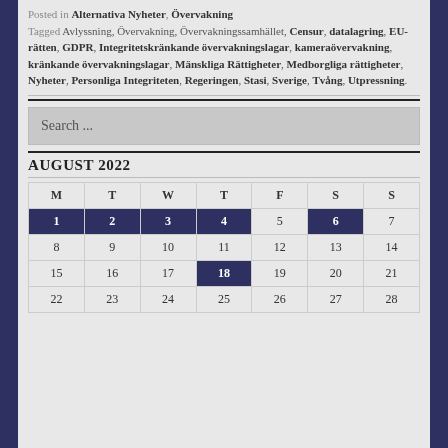Posted in Alternativa Nyheter, Övervakning
Tagged Avlyssning, Övervakning, Övervakningssamhället, Censur, datalagring, EU-rätten, GDPR, Integritetskränkande övervakningslagar, kameraövervakning, kränkande övervakningslagar, Mänskliga Rättigheter, Medborgliga rättigheter, Nyheter, Personliga Integriteten, Regeringen, Stasi, Sverige, Tvång, Utpressning.
Search ...
AUGUST 2022
| M | T | W | T | F | S | S |
| --- | --- | --- | --- | --- | --- | --- |
| 1 | 2 | 3 | 4 | 5 | 6 | 7 |
| 8 | 9 | 10 | 11 | 12 | 13 | 14 |
| 15 | 16 | 17 | 18 | 19 | 20 | 21 |
| 22 | 23 | 24 | 25 | 26 | 27 | 28 |